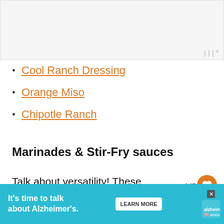[Figure (other): Top image placeholder area, light gray background]
Cool Ranch Dressing
Orange Miso
Chipotle Ranch
Marinades & Stir-Fry sauces
Talk about versatility! These sauces can be used as marinades or even in stir-fries. Th three here are only to whet your appetite be
[Figure (other): Advertisement banner: It's time to talk about Alzheimer's. LEARN MORE. Alzheimer's Association logo. Close button.]